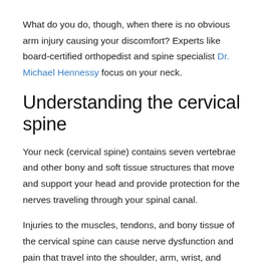What do you do, though, when there is no obvious arm injury causing your discomfort? Experts like board-certified orthopedist and spine specialist Dr. Michael Hennessy focus on your neck.
Understanding the cervical spine
Your neck (cervical spine) contains seven vertebrae and other bony and soft tissue structures that move and support your head and provide protection for the nerves traveling through your spinal canal.
Injuries to the muscles, tendons, and bony tissue of the cervical spine can cause nerve dysfunction and pain that travel into the shoulder, arm, wrist, and hand. The clinical description for this nerve dysfunction/pain is radiculopathy, which is most often responsible for causing